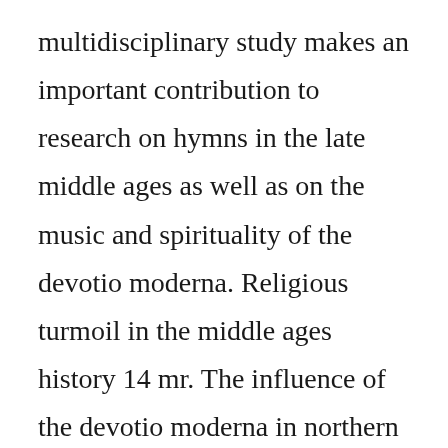multidisciplinary study makes an important contribution to research on hymns in the late middle ages as well as on the music and spirituality of the devotio moderna. Religious turmoil in the middle ages history 14 mr. The influence of the devotio moderna in northern germany published on 01 jan 2014 by brill. The devotio has sometimes been interpreted in light of human sacrifice in ancient rome, and walter burkert saw it as a form of scapegoat or pharmakos ritual. Modern devotion brethren of the common life flashcards quizlet. Devotio moderna, or